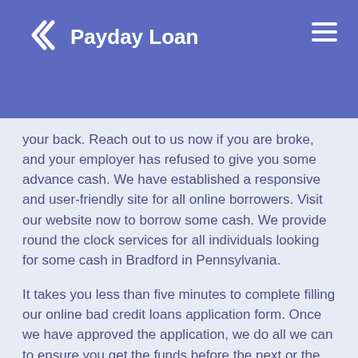Payday Loan
When you have an empty wallet, and you are looking for money to buy food for the family, then we have your back. Reach out to us now if you are broke, and your employer has refused to give you some advance cash. We have established a responsive and user-friendly site for all online borrowers. Visit our website now to borrow some cash. We provide round the clock services for all individuals looking for some cash in Bradford in Pennsylvania.
It takes you less than five minutes to complete filling our online bad credit loans application form. Once we have approved the application, we do all we can to ensure you get the funds before the next or the same business day. Sometimes it takes less than one business day to get a loan from our company. If you meet all the requirements for an advance loan, then you can always rely on us for some money wherever you go broke.